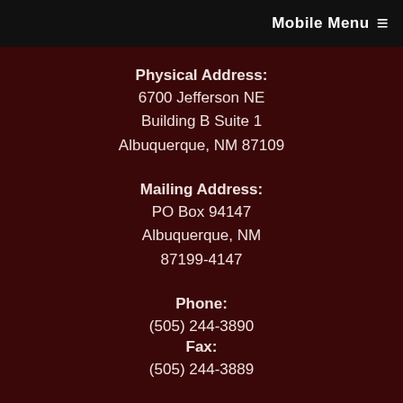Mobile Menu ≡
Physical Address:
6700 Jefferson NE
Building B Suite 1
Albuquerque, NM 87109
Mailing Address:
PO Box 94147
Albuquerque, NM
87199-4147
Phone:
(505) 244-3890
Fax:
(505) 244-3889